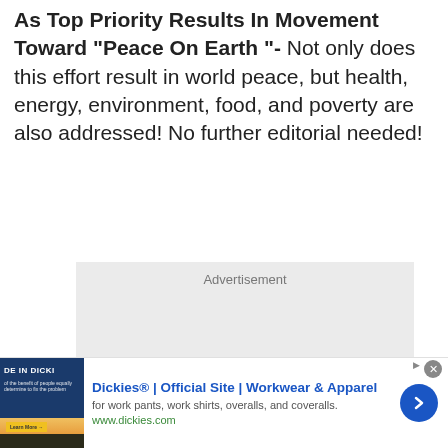As Top Priority Results In Movement Toward “Peace On Earth”- Not only does this effort result in world peace, but health, energy, environment, food, and poverty are also addressed! No further editorial needed!
[Figure (other): Advertisement placeholder box with gray background and the word 'Advertisement' at the top center]
[Figure (other): Banner advertisement for Dickies Official Site - Workwear and Apparel. Shows a product image on the left with dark blue background, text 'DE IN DICKI' visible, orange/sunset image at bottom. Text reads: 'Dickies® | Official Site | Workwear & Apparel', 'for work pants, work shirts, overalls, and coveralls.', 'www.dickies.com'. Blue arrow button on the right.]